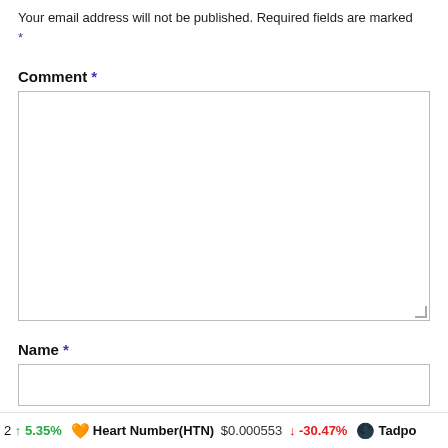Your email address will not be published. Required fields are marked *
Comment *
[Figure (other): Comment textarea input box, empty, with resize handle]
Name *
[Figure (other): Name text input box, empty]
2 ↑ 5.35%  Heart Number(HTN) $0.000553 ↓ -30.47%  Tadpo